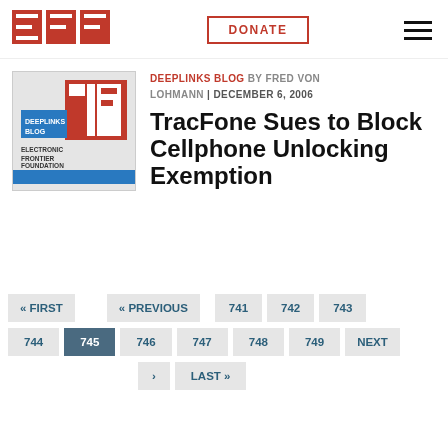[Figure (logo): EFF (Electronic Frontier Foundation) logo with three red block letters E, F, F]
DONATE
[Figure (illustration): EFF Deeplinks Blog thumbnail image showing DEEPLINKS BLOG and ELECTRONIC FRONTIER FOUNDATION text with EFF logo]
DEEPLINKS BLOG BY FRED VON LOHMANN | DECEMBER 6, 2006
TracFone Sues to Block Cellphone Unlocking Exemption
« FIRST  « PREVIOUS  741  742  743  744  745  746  747  748  749  NEXT  »  LAST »